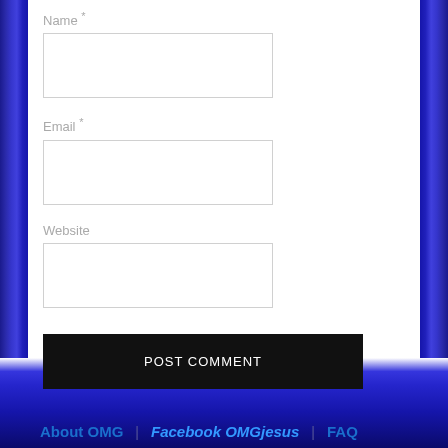Name *
Email *
Website
POST COMMENT
About OMG   Facebook OMGjesus   FAQ